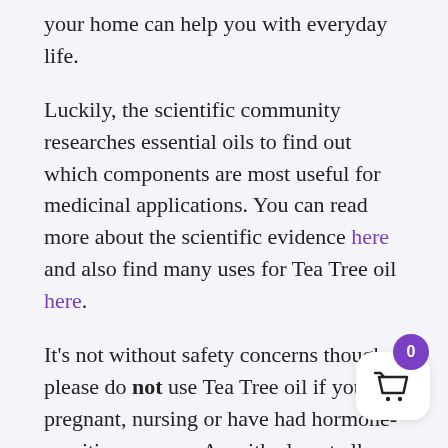your home can help you with everyday life.
Luckily, the scientific community researches essential oils to find out which components are most useful for medicinal applications. You can read more about the scientific evidence here and also find many uses for Tea Tree oil here.
It's not without safety concerns though – please do not use Tea Tree oil if you are pregnant, nursing or have had hormone-sensitive cancers. As with almost all essential oils, I don't recommend using it straight out the bottle – especially if you have sensitive skin. And NEVER take Tea Tree oil internally as